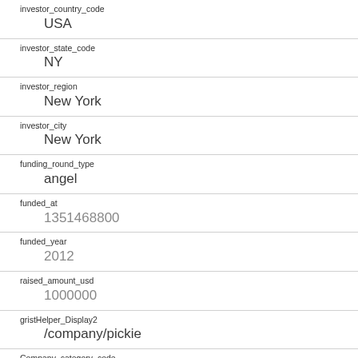| Field | Value |
| --- | --- |
| investor_country_code | USA |
| investor_state_code | NY |
| investor_region | New York |
| investor_city | New York |
| funding_round_type | angel |
| funded_at | 1351468800 |
| funded_year | 2012 |
| raised_amount_usd | 1000000 |
| gristHelper_Display2 | /company/pickie |
| Company_category_code | fashion |
| Investor |  |